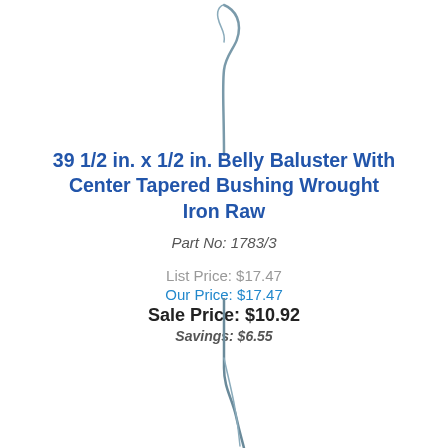[Figure (photo): Top portion of a wrought iron belly baluster shown vertically, displaying the upper hook/top end of the iron baluster against white background]
39 1/2 in. x 1/2 in. Belly Baluster With Center Tapered Bushing Wrought Iron Raw
Part No: 1783/3
List Price: $17.47
Our Price: $17.47
Sale Price: $10.92
Savings: $6.55
[Figure (photo): Bottom portion of a wrought iron belly baluster shown vertically, displaying the lower tapered bushing end of the iron baluster against white background]